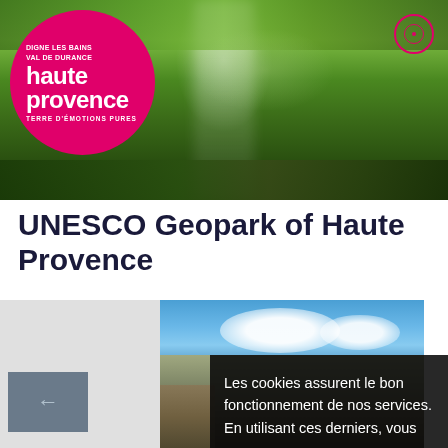[Figure (photo): Header banner showing a lush green waterfall landscape with moss-covered rocks and green trees. Pink circular logo overlay on left with 'haute provence' branding and 'DIGNE LES BAINS VAL DE DURANCE' text. Small red/pink circular icon on top right.]
UNESCO Geopark of Haute Provence
[Figure (screenshot): Website screenshot showing a landscape photo with blue sky and clouds above rocky terrain. Grey sidebar on left with navigation arrow box. Dark semi-transparent cookie consent overlay on right side with text: 'Les cookies assurent le bon fonctionnement de nos services. En utilisant ces derniers, vous']